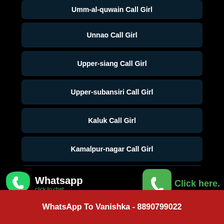Umm-al-quwain Call Girl
Unnao Call Girl
Upper-siang Call Girl
Upper-subansiri Call Girl
Kaluk Call Girl
Kamalpur-nagar Call Girl
Kamptee Call Girl
Kamrup Call Girl
[Figure (infographic): WhatsApp click to chat button with green WhatsApp logo and phone icon button with 'Click here.' text. Below: 'Call Vanishka Now - 8890799022']
Call Vanishka Now - 8890799022
WhatsApp To Vanishka - 8890799022